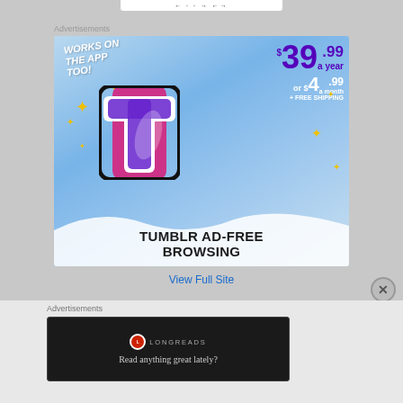[Figure (screenshot): Top navigation bar partial view with small text]
Advertisements
[Figure (illustration): Tumblr Ad-Free Browsing advertisement. Features the Tumblr 't' logo with sparkles on a blue sky background. Text: WORKS ON THE APP TOO! $39.99 a year or $4.99 a month + FREE SHIPPING. TUMBLR AD-FREE BROWSING.]
View Full Site
Advertisements
[Figure (screenshot): Longreads advertisement on black background. Shows Longreads logo and text: Read anything great lately?]